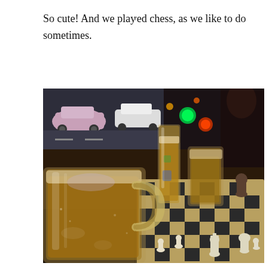So cute! And we played chess, as we like to do sometimes.
[Figure (photo): Photo of two beer mugs on a table next to a chess board with chess pieces, taken at a bar/cafe at night. Cars visible through window in background along with colorful lights.]